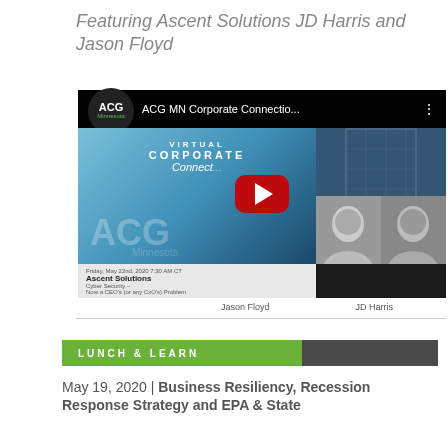Featuring Ascent Solutions JD Harris and Jason Floyd
[Figure (screenshot): YouTube video thumbnail for ACG MN Corporate Connection featuring Jason Floyd and JD Harris from Ascent Solutions, showing a virtual corporate connection event thumbnail with play button]
Jason Floyd     JD Harris
LUNCH & LEARN
May 19, 2020 | Business Resiliency, Recession Response Strategy and EPA & State